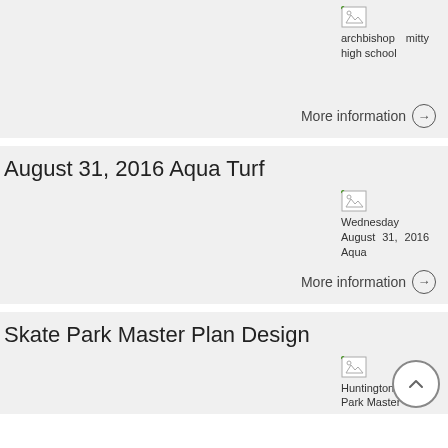[Figure (other): Broken image thumbnail for archbishop mitty high school]
archbishop mitty high school
More information →
August 31, 2016 Aqua Turf
[Figure (other): Broken image thumbnail for Wednesday August 31, 2016 Aqua]
Wednesday August 31, 2016 Aqua
More information →
Skate Park Master Plan Design
[Figure (other): Broken image thumbnail for Huntington Skate Park Master]
Huntington Skate Park Master